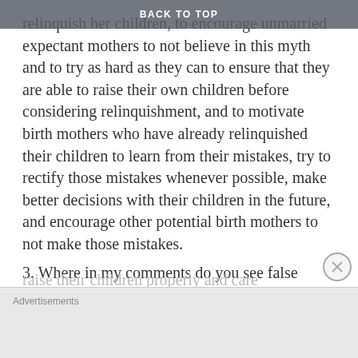BACK TO TOP
relinquish her children, to encourage unmarried expectant mothers to not believe in this myth and to try as hard as they can to ensure that they are able to raise their own children before considering relinquishment, and to motivate birth mothers who have already relinquished their children to learn from their mistakes, try to rectify those mistakes whenever possible, make better decisions with their children in the future, and encourage other potential birth mothers to not make those mistakes.
3. Where in my comments do you see false claims? Read the second point in this comment and you'll see that the Bible does make it clear that every biological parent has a God-given responsibility to
Advertisements